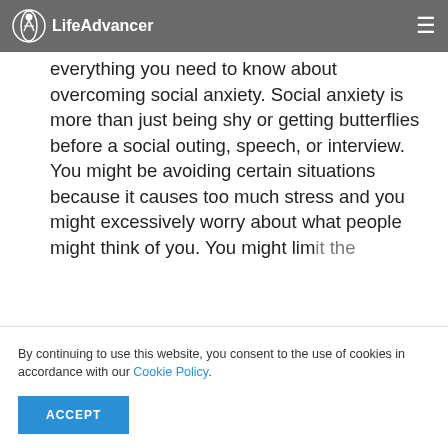LifeAdvancer
everything you need to know about overcoming social anxiety. Social anxiety is more than just being shy or getting butterflies before a social outing, speech, or interview. You might be avoiding certain situations because it causes too much stress and you might excessively worry about what people might think of you. You might limit the
By continuing to use this website, you consent to the use of cookies in accordance with our Cookie Policy.
ACCEPT